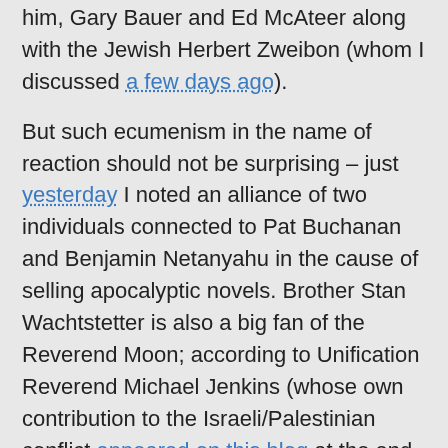him, Gary Bauer and Ed McAteer along with the Jewish Herbert Zweibon (whom I discussed a few days ago).
But such ecumenism in the name of reaction should not be surprising – just yesterday I noted an alliance of two individuals connected to Pat Buchanan and Benjamin Netanyahu in the cause of selling apocalyptic novels. Brother Stan Wachtstetter is also a big fan of the Reverend Moon; according to Unification Reverend Michael Jenkins (whose own contribution to the Israeli/Palestinian conflict appeared on this blog at the end of March), in 2001 Moon organised a conference
to continue to break down all religious barriers. Now the conference became a vortex of the first encounter of the major Moslem world leaders with Western Christian leaders. Global Violence: